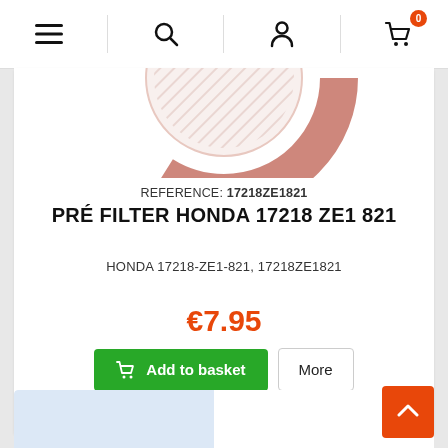Navigation bar with menu, search, account, and cart (0 items) icons
[Figure (photo): Partial view of a ring-shaped Honda pre-filter (reddish-brown color) shown from above]
REFERENCE: 17218ZE1821
PRÉ FILTER HONDA 17218 ZE1 821
HONDA 17218-ZE1-821, 17218ZE1821
€7.95
Add to basket
More
In stock